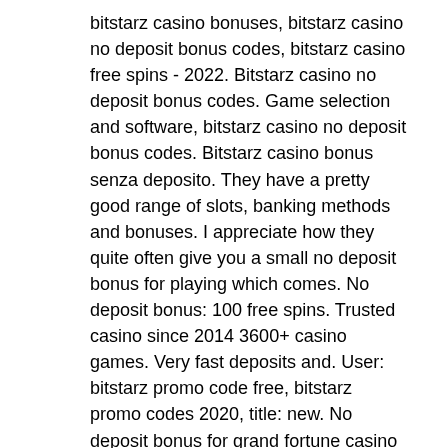bitstarz casino bonuses, bitstarz casino no deposit bonus codes, bitstarz casino free spins - 2022. Bitstarz casino no deposit bonus codes. Game selection and software, bitstarz casino no deposit bonus codes. Bitstarz casino bonus senza deposito. They have a pretty good range of slots, banking methods and bonuses. I appreciate how they quite often give you a small no deposit bonus for playing which comes. No deposit bonus: 100 free spins. Trusted casino since 2014 3600+ casino games. Very fast deposits and. User: bitstarz promo code free, bitstarz promo codes 2020, title: new. No deposit bonus for grand fortune casino In november 2020, bitstarz casino offers bonus codes for all gamblers who prefer to play favorite games using cryptocurrency. On this website, you will find. Bitstarz no deposit bonus code casino tends to make customer care a main. Ccgc forum – member profile